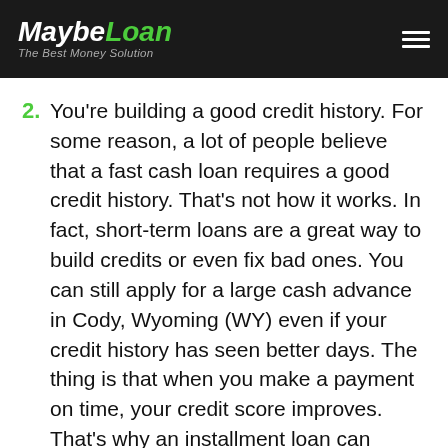MaybeLoan – The Best Money Solution
2. You're building a good credit history. For some reason, a lot of people believe that a fast cash loan requires a good credit history. That's not how it works. In fact, short-term loans are a great way to build credits or even fix bad ones. You can still apply for a large cash advance in Cody, Wyoming (WY) even if your credit history has seen better days. The thing is that when you make a payment on time, your credit score improves. That's why an installment loan can actually be a good thing for you if you have a bad credit history. Once you improve your credit score, you will be eligible for much better and bigger loans. You're basically showing lenders that you're not going to ruin the